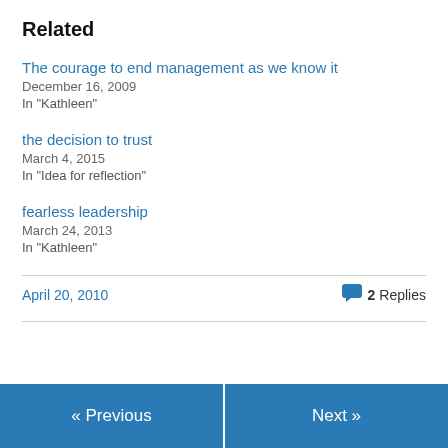Related
The courage to end management as we know it
December 16, 2009
In "Kathleen"
the decision to trust
March 4, 2015
In "Idea for reflection"
fearless leadership
March 24, 2013
In "Kathleen"
April 20, 2010
2 Replies
« Previous
Next »